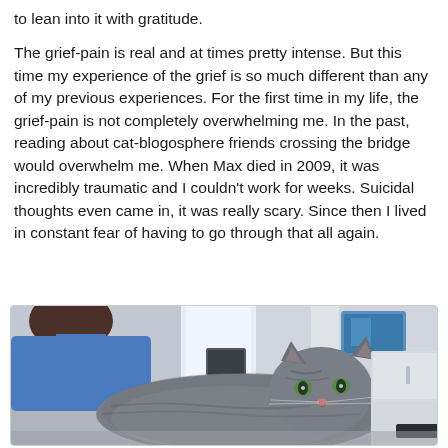to lean into it with gratitude.
The grief-pain is real and at times pretty intense. But this time my experience of the grief is so much different than any of my previous experiences. For the first time in my life, the grief-pain is not completely overwhelming me. In the past, reading about cat-blogosphere friends crossing the bridge would overwhelm me. When Max died in 2009, it was incredibly traumatic and I couldn't work for weeks. Suicidal thoughts even came in, it was really scary. Since then I lived in constant fear of having to go through that all again.
[Figure (photo): A large fluffy gray tabby cat lying down on a surface, with a person wearing a blue shirt partially visible in the background. Indoor home setting with walls, a doorway with light, and some furniture visible.]